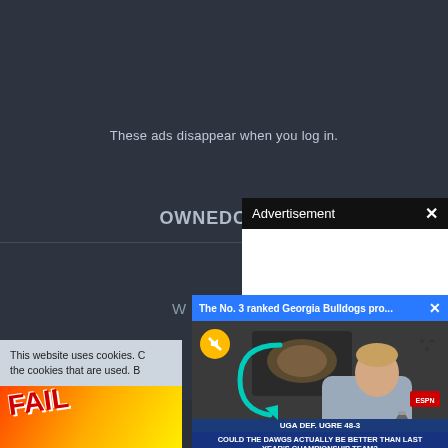These ads disappear when you log in.
OWNEDCORE
W
This website uses cookies. the cookies that are used. B
[Figure (screenshot): Advertisement overlay panel with header 'Advertisement' and white content area below]
[Figure (screenshot): Video player panel showing 'The No. 3 ranked Georgia Bulldogs pro...' with a sports news presenter, mute button, and lower thirds showing 'UGA DEF. UGRE 48-3' and 'COULD THE DAWGS ACTUALLY BE BETTER THAN LAST YEAR'S CHAMPIONSHIP TEAM?']
[Figure (photo): FAIL image thumbnail with cartoon character facepalming]